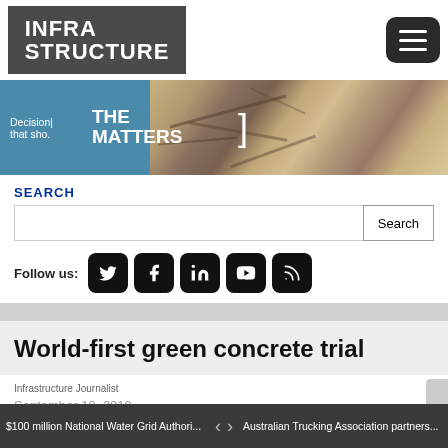[Figure (logo): Infrastructure magazine logo — white bold text on dark gray background]
[Figure (photo): Banner advertisement with teal left panel reading 'Decisions that should. THE MATTERS' and right aerial photo of roads/construction area]
SEARCH
[Figure (screenshot): Search input box with Search button]
Follow us:
[Figure (screenshot): Social media icons: Twitter, Facebook, LinkedIn, YouTube, RSS]
World-first green concrete trial
Infrastructure Journalist
September 18, 2019
$100 million National Water Grid Authori... < > Australian Trucking Association partners...